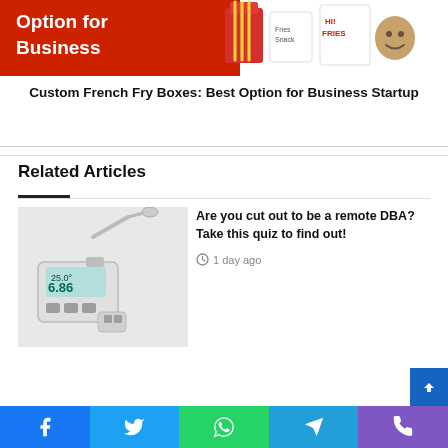[Figure (photo): Red and white French fry boxes with cartoon characters, promotional food packaging image with text 'Option for Business']
Custom French Fry Boxes: Best Option for Business Startup
Related Articles
[Figure (photo): A handheld digital pH meter / laboratory instrument showing reading 6.86 and 25.0 degrees]
Are you cut out to be a remote DBA? Take this quiz to find out!
1 day ago